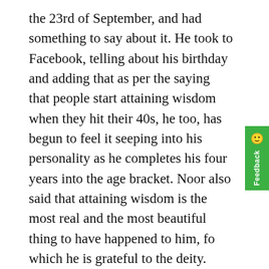the 23rd of September, and had something to say about it. He took to Facebook, telling about his birthday and adding that as per the saying that people start attaining wisdom when they hit their 40s, he too, has begun to feel it seeping into his personality as he completes his four years into the age bracket. Noor also said that attaining wisdom is the most real and the most beautiful thing to have happened to him, for which he is grateful to the deity.

Ali Noor has always inspired us for being himself. It was more than a decade ago that he produced “Suno Ke Mein Hoon Jawaan” and took all of us along in his celebration of youth. Now that the versatile artist (not to forget that Ali Noor also acted in a historical drama